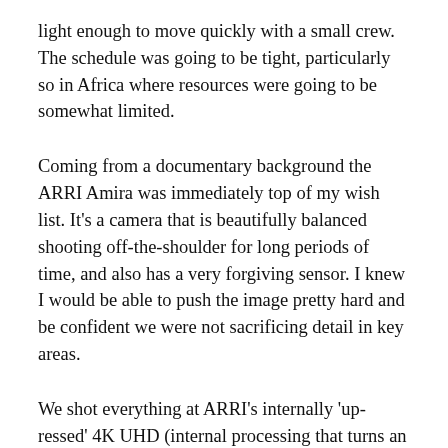light enough to move quickly with a small crew. The schedule was going to be tight, particularly so in Africa where resources were going to be somewhat limited.
Coming from a documentary background the ARRI Amira was immediately top of my wish list. It's a camera that is beautifully balanced shooting off-the-shoulder for long periods of time, and also has a very forgiving sensor. I knew I would be able to push the image pretty hard and be confident we were not sacrificing detail in key areas.
We shot everything at ARRI's internally 'up-ressed' 4K UHD (internal processing that turns an image from the 3.2k sensor into a '4K UHD' image, meaning it is technically not true 4K UHD) with a 2.35:1 ratio using ARRI log C and a ProRes 442HQ codec. Ideally I would have liked to have shot with a larger codec to retain the